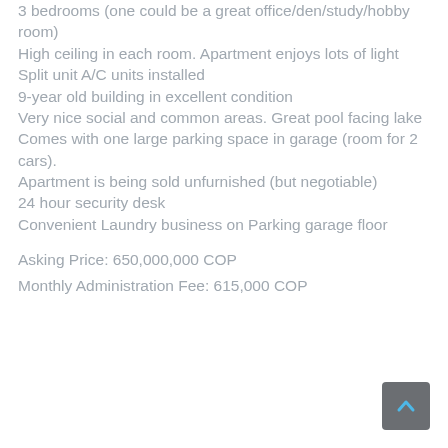3 bedrooms (one could be a great office/den/study/hobby room)
High ceiling in each room. Apartment enjoys lots of light
Split unit A/C units installed
9-year old building in excellent condition
Very nice social and common areas. Great pool facing lake
Comes with one large parking space in garage (room for 2 cars).
Apartment is being sold unfurnished (but negotiable)
24 hour security desk
Convenient Laundry business on Parking garage floor
Asking Price: 650,000,000 COP
Monthly Administration Fee: 615,000 COP